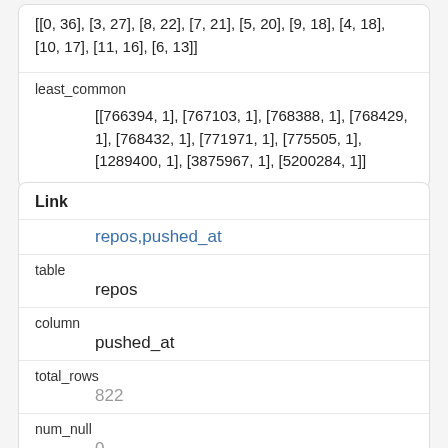[[0, 36], [3, 27], [8, 22], [7, 21], [5, 20], [9, 18], [4, 18], [10, 17], [11, 16], [6, 13]]
least_common
[[766394, 1], [767103, 1], [768388, 1], [768429, 1], [768432, 1], [771971, 1], [775505, 1], [1289400, 1], [3875967, 1], [5200284, 1]]
Link
repos,pushed_at
table
repos
column
pushed_at
total_rows
822
num_null
0
num_blank
0
num_distinct